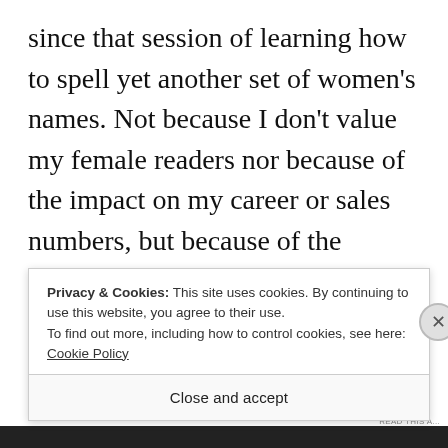since that session of learning how to spell yet another set of women's names. Not because I don't value my female readers nor because of the impact on my career or sales numbers, but because of the questions to which this imbalance inevitably leads, because of my hunch that this book-avoiding nonsense is only a relatively innocuous hint at something much more important, something both endemic and
Privacy & Cookies: This site uses cookies. By continuing to use this website, you agree to their use.
To find out more, including how to control cookies, see here: Cookie Policy
Close and accept